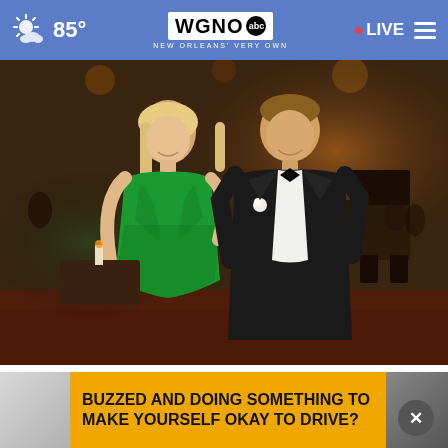85° WGNO abc NEW ORLEANS' VERY OWN • LIVE
[Figure (photo): A couple dressed formally at what appears to be a gala or wedding reception. The woman is wearing a bright green strapless dress, the man is in a black tuxedo with bow tie and white boutonniere. Ballroom/banquet hall setting in background.]
The Most Successful Attorneys in Ashburn. See the List
Top Attorney | Sponsored Links
[Figure (screenshot): Advertisement banner with gold/yellow background reading: BUZZED AND DOING SOMETHING TO MAKE YOURSELF OKAY TO DRIVE?]